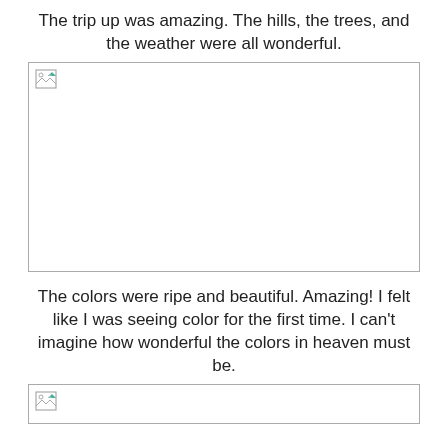The trip up was amazing.  The hills, the trees, and the weather were all wonderful.
[Figure (photo): A large image placeholder (broken image icon visible in top-left corner) showing a white rectangle with border.]
The colors were ripe and beautiful.  Amazing!  I felt like I was seeing color for the first time.  I can't imagine how wonderful the colors in heaven must be.
[Figure (photo): A partial image placeholder (broken image icon visible in top-left corner) at the bottom of the page.]